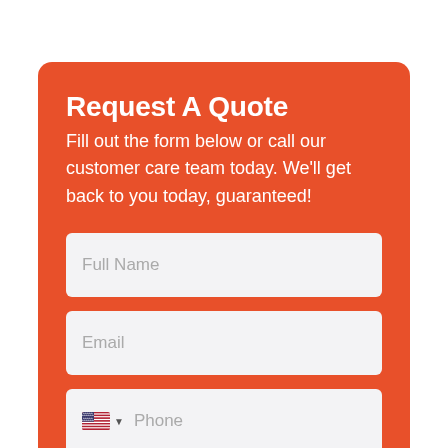Request A Quote
Fill out the form below or call our customer care team today. We'll get back to you today, guaranteed!
Full Name
Email
Phone